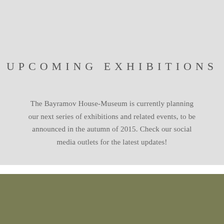UPCOMING EXHIBITIONS
The Bayramov House-Museum is currently planning our next series of exhibitions and related events, to be announced in the autumn of 2015. Check our social media outlets for the latest updates!